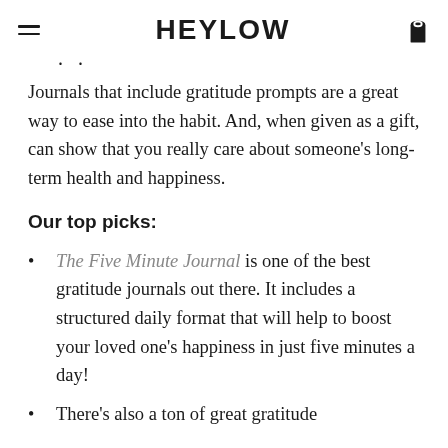HEYLOW
Journals that include gratitude prompts are a great way to ease into the habit. And, when given as a gift, can show that you really care about someone’s long-term health and happiness.
Our top picks:
The Five Minute Journal is one of the best gratitude journals out there. It includes a structured daily format that will help to boost your loved one’s happiness in just five minutes a day!
There’s also a ton of great gratitude